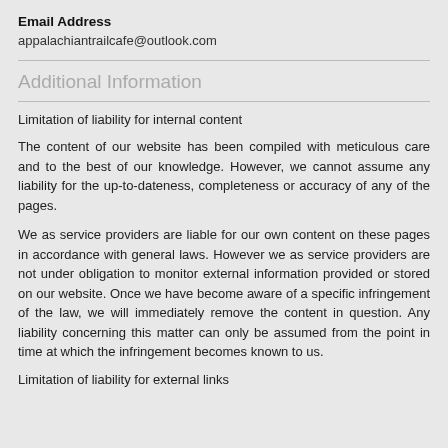Email Address
appalachiantrailcafe@outlook.com
Additional Information
Limitation of liability for internal content
The content of our website has been compiled with meticulous care and to the best of our knowledge. However, we cannot assume any liability for the up-to-dateness, completeness or accuracy of any of the pages.
We as service providers are liable for our own content on these pages in accordance with general laws. However we as service providers are not under obligation to monitor external information provided or stored on our website. Once we have become aware of a specific infringement of the law, we will immediately remove the content in question. Any liability concerning this matter can only be assumed from the point in time at which the infringement becomes known to us.
Limitation of liability for external links